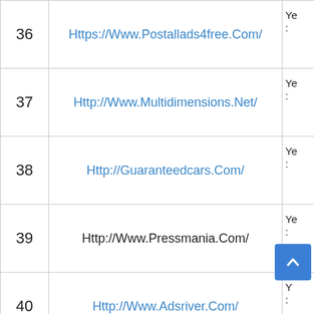| # | URL | Status |
| --- | --- | --- |
| 36 | Https://Www.Postallads4free.Com/ | Ye... |
| 37 | Http://Www.Multidimensions.Net/ | Ye... |
| 38 | Http://Guaranteedcars.Com/ | Ye... |
| 39 | Http://Www.Pressmania.Com/ | Ye... |
| 40 | Http://Www.Adsriver.Com/ | Ye... |